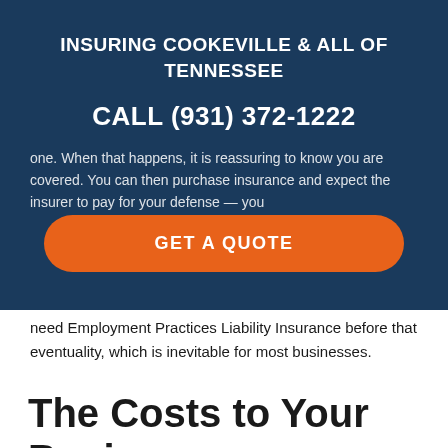INSURING COOKEVILLE & ALL OF TENNESSEE
CALL (931) 372-1222
one. When that happens, it is reassuring to know you are covered. You can then purchase insurance and expect the insurer to pay for your defense — you need Employment Practices Liability Insurance before that eventuality, which is inevitable for most businesses.
[Figure (other): Orange rounded button with text GET A QUOTE]
The Costs to Your Business